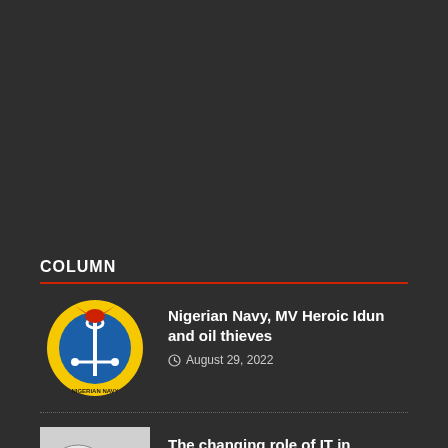COLUMN
Nigerian Navy, MV Heroic Idun and oil thieves
August 29, 2022
The changing role of IT in national development
August 29, 2022